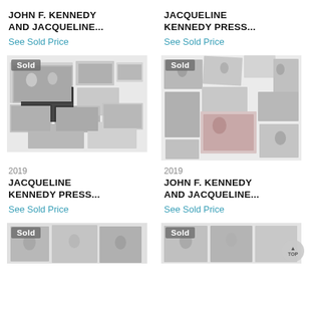JOHN F. KENNEDY AND JACQUELINE...
See Sold Price
JACQUELINE KENNEDY PRESS...
See Sold Price
[Figure (photo): Collection of black and white press photos of JFK and Jacqueline Kennedy, Sold badge overlay]
[Figure (photo): Collection of black and white and some color press photos of JFK and Jacqueline Kennedy, Sold badge overlay]
2019
JACQUELINE KENNEDY PRESS...
See Sold Price
2019
JOHN F. KENNEDY AND JACQUELINE...
See Sold Price
[Figure (photo): Partial photo collage with Sold badge, bottom of page, left column]
[Figure (photo): Partial photo collage with Sold badge, bottom of page, right column]